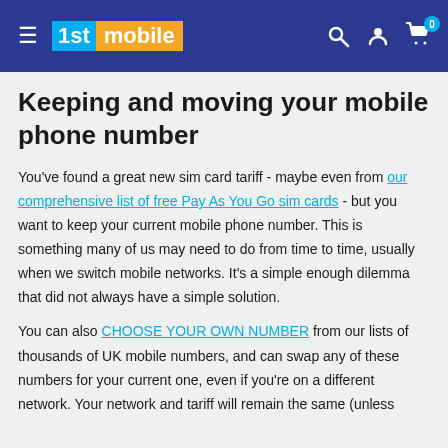1st mobile
Keeping and moving your mobile phone number
You've found a great new sim card tariff - maybe even from our comprehensive list of free Pay As You Go sim cards - but you want to keep your current mobile phone number. This is something many of us may need to do from time to time, usually when we switch mobile networks. It's a simple enough dilemma that did not always have a simple solution.
You can also CHOOSE YOUR OWN NUMBER from our lists of thousands of UK mobile numbers, and can swap any of these numbers for your current one, even if you're on a different network. Your network and tariff will remain the same (unless you want to change it), the only thing that will change is your number.